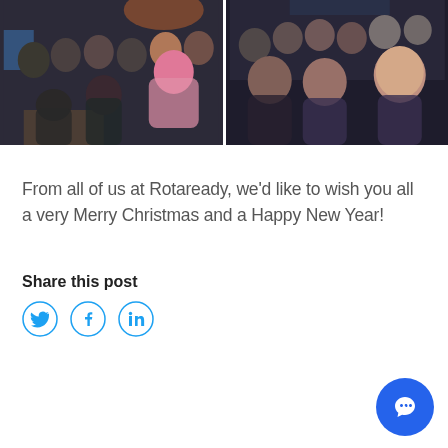[Figure (photo): Two group photos side by side: left shows a group of people in a dimly lit bar/restaurant setting, right shows a similar group selfie in a venue]
From all of us at Rotaready, we’d like to wish you all a very Merry Christmas and a Happy New Year!
Share this post
[Figure (infographic): Social media share icons: Twitter (bird), Facebook (f), LinkedIn (in)]
[Figure (other): Blue circular chat/support button with message icon in bottom right corner]